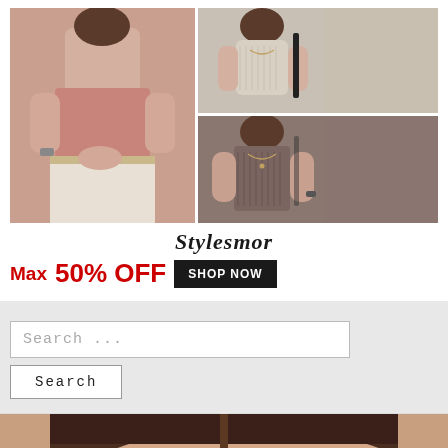[Figure (photo): Fashion advertisement showing women wearing tops. Left: woman in pink ribbed half-sleeve top with white skirt and belt. Top-right: woman in cream ribbed fitted top. Bottom-right: woman in taupe/brown ribbed tank top with necklace.]
Stylesmor
Max 50% OFF   SHOP NOW
Search ...
Search
[Figure (photo): NIHAO brand advertisement showing a woman with dark hair. Purple butterfly logo with NIHAO text visible.]